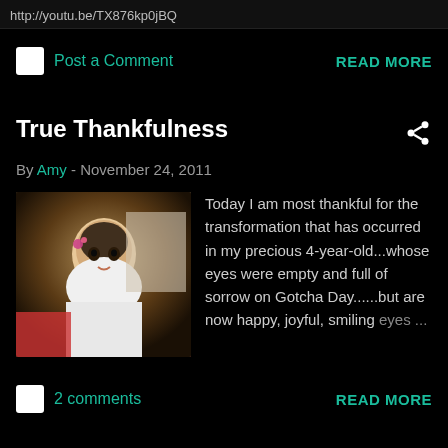http://youtu.be/TX876kp0jBQ
Post a Comment
READ MORE
True Thankfulness
By Amy - November 24, 2011
[Figure (photo): Thumbnail photo of a young child (approximately 4 years old) in a white top]
Today I am most thankful for the transformation that has occurred in my precious 4-year-old...whose eyes were empty and full of sorrow on Gotcha Day......but are now happy, joyful, smiling eyes ...
2 comments
READ MORE